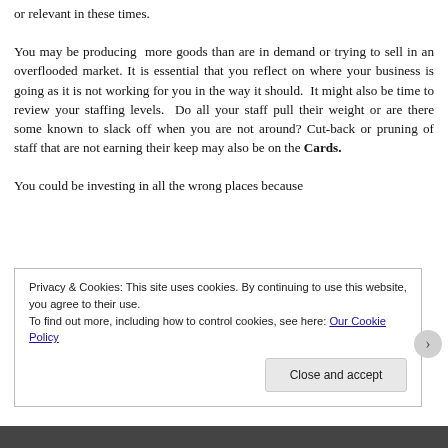or relevant in these times.

You may be producing more goods than are in demand or trying to sell in an overflooded market. It is essential that you reflect on where your business is going as it is not working for you in the way it should. It might also be time to review your staffing levels. Do all your staff pull their weight or are there some known to slack off when you are not around? Cut-back or pruning of staff that are not earning their keep may also be on the Cards.

You could be investing in all the wrong places because
Privacy & Cookies: This site uses cookies. By continuing to use this website, you agree to their use.
To find out more, including how to control cookies, see here: Our Cookie Policy

Close and accept